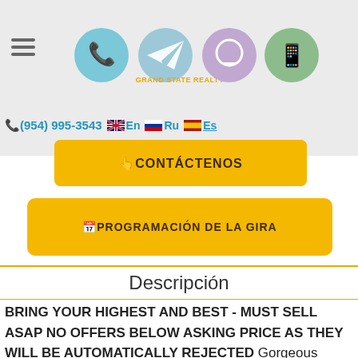THE BEACH CLUB
[Figure (screenshot): Navigation header with hamburger menu and four social media icon circles (phone, Telegram, Viber/chat, WhatsApp) and a Grand State Realty logo overlay. Below: phone number (954) 995-3543 and language links En, Ru, Es with flags.]
👆CONTÁCTENOS
📅PROGRAMACIÓN DE LA GIRA
Descripción
BRING YOUR HIGHEST AND BEST - MUST SELL ASAP NO OFFERS BELOW ASKING PRICE AS THEY WILL BE AUTOMATICALLY REJECTED Gorgeous recently remodeled and furnished with taste unit at the famous Beach Club of